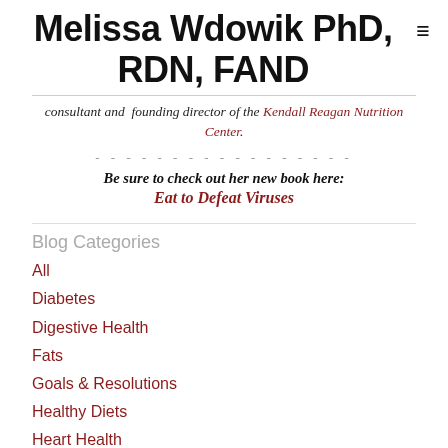Melissa Wdowik PhD, RDN, FAND
consultant and founding director of the Kendall Reagan Nutrition Center.
Be sure to check out her new book here:
Eat to Defeat Viruses
Blog Categories
All
Diabetes
Digestive Health
Fats
Goals & Resolutions
Healthy Diets
Heart Health